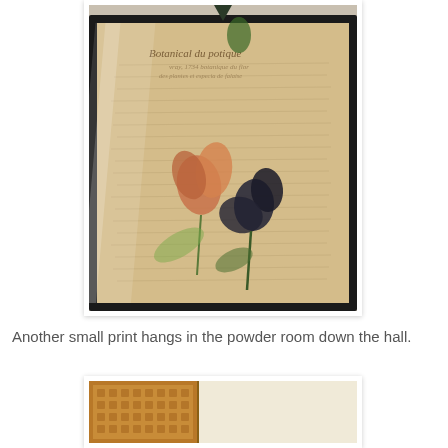[Figure (photo): A framed botanical print with black frame, showing orange and dark botanical flower illustrations on aged parchment-like background with cursive script text. The frame hangs on a light beige wall, with a dark decorative item visible at the top.]
Another small print hangs in the powder room down the hall.
[Figure (photo): Partial view of a framed print with an ornate gold/orange frame, showing a light cream-colored background, mounted on a wall with panel molding visible.]